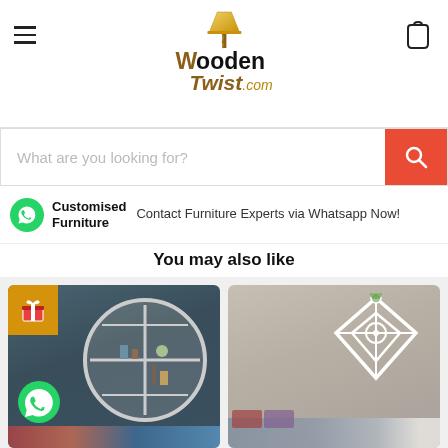[Figure (logo): WoodenTwist.com logo with lamp icon and stylized text]
What are you looking for?
Customised Furniture
Contact Furniture Experts via Whatsapp Now!
You may also like
[Figure (photo): Round white wall shelf with books and decor on grey-blue wall, with WhatsApp icon overlay and gift badge]
[Figure (photo): White geometric diamond-shaped wall shelf on beige wall above grey sofa]